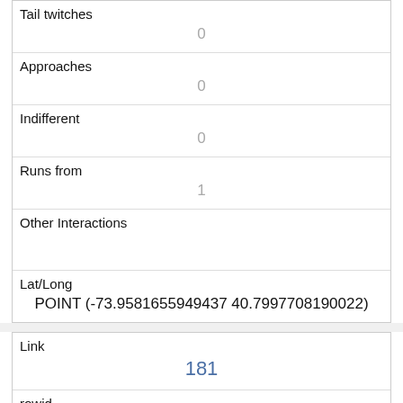| Tail twitches | 0 |
| Approaches | 0 |
| Indifferent | 0 |
| Runs from | 1 |
| Other Interactions |  |
| Lat/Long | POINT (-73.9581655949437 40.7997708190022) |
| Link | 181 |
| rowid | 181 |
| longitude | -73.9708775864433 |
| latitude | 40.7724736335538 |